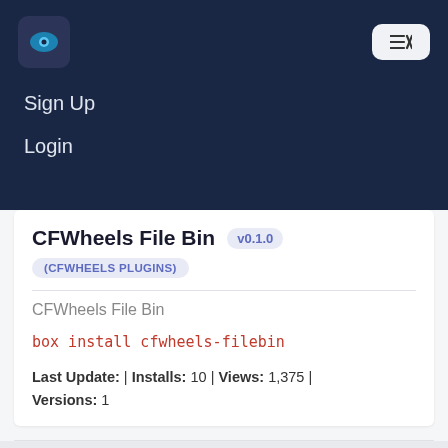[Figure (logo): Dark blue rounded square logo with a cloud/eye icon]
[Figure (other): Menu button with hamburger and X icon]
Sign Up
Login
CFWheels File Bin v0.1.0
(CFWHEELS PLUGINS)
CFWheels File Bin
box install cfwheels-filebin
Last Update: | Installs: 10 | Views: 1,375 | Versions: 1